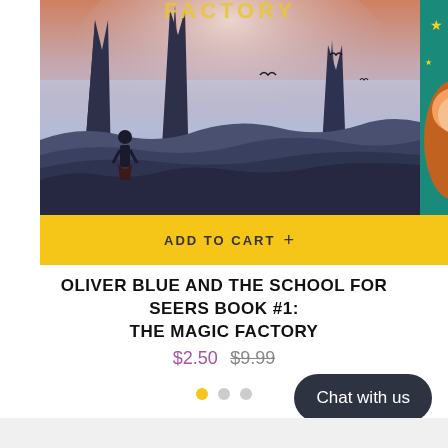[Figure (illustration): Fantasy book cover showing a figure standing on rocky terrain with tall spire-like cliffs and birds in a misty sky. Partially cut off on left. Another book cover visible on right edge.]
ADD TO CART +
OLIVER BLUE AND THE SCHOOL FOR SEERS BOOK #1: THE MAGIC FACTORY
$2.50  $9.99
Chat with us